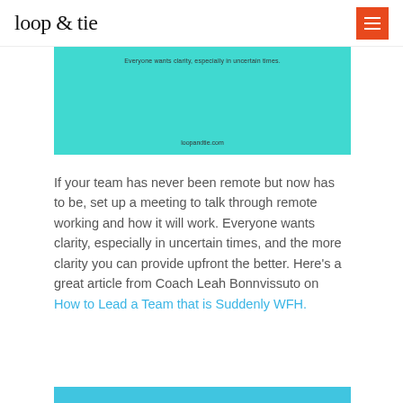loop & tie
[Figure (illustration): Teal/turquoise banner image with text 'Everyone wants clarity, especially in uncertain times.' and 'loopandtie.com' at the bottom]
If your team has never been remote but now has to be, set up a meeting to talk through remote working and how it will work. Everyone wants clarity, especially in uncertain times, and the more clarity you can provide upfront the better. Here's a great article from Coach Leah Bonnvissuto on How to Lead a Team that is Suddenly WFH.